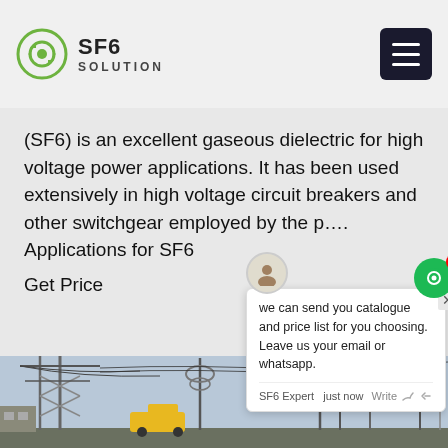SF6 SOLUTION
(SF6) is an excellent gaseous dielectric for high voltage power applications. It has been used extensively in high voltage circuit breakers and other switchgear employed by the p…. Applications for SF6
Get Price
we can send you catalogue and price list for you choosing.
Leave us your email or whatsapp.
SF6 Expert  just now
Write
[Figure (photo): Electrical substation with high voltage towers, transmission lines, insulators, and utility equipment. A yellow vehicle is visible in the foreground.]